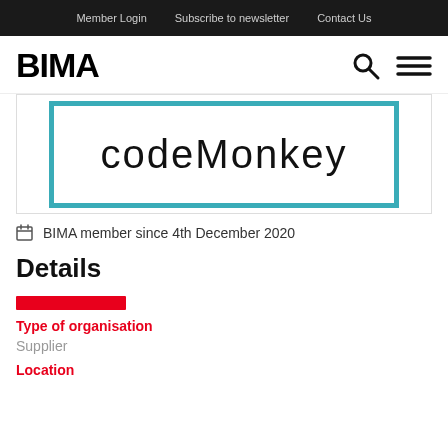Member Login   Subscribe to newsletter   Contact Us
BIMA
[Figure (logo): CodeMonkey logo inside teal border rectangle]
BIMA member since 4th December 2020
Details
Type of organisation
Supplier
Location